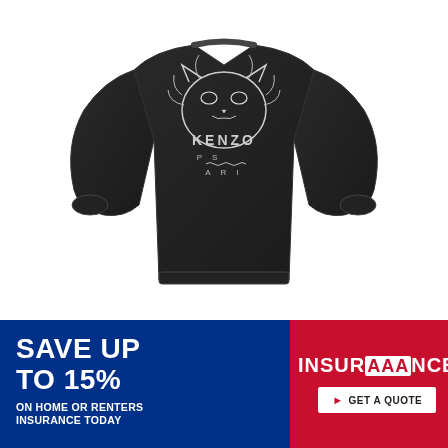[Figure (photo): Black Kenzo Paris sweatshirt with tiger face embroidered graphic on chest, displayed on white background]
[Figure (infographic): Advertisement banner: Blue left panel with 'SAVE UP TO 15%' and 'ON HOME OR RENTERS INSURANCE TODAY'. Red right panel with 'INSURANCE' (AAA logo) and 'GET A QUOTE' button.]